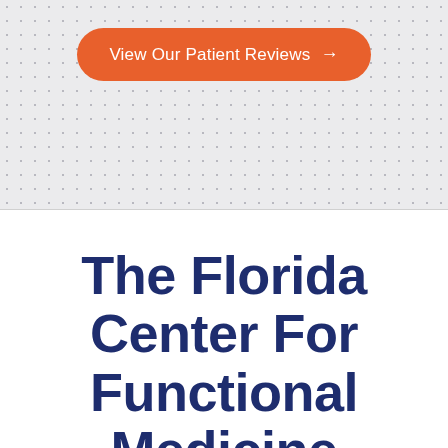[Figure (other): Orange rounded button with text 'View Our Patient Reviews →' on a light gray dotted/grid background]
The Florida Center For Functional Medicine Formula
On your consultation, you can expect to spend a